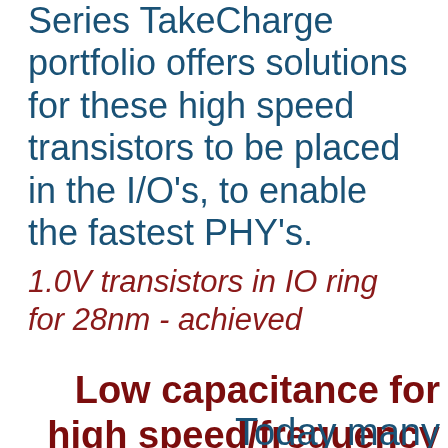Series TakeCharge portfolio offers solutions for these high speed transistors to be placed in the I/O's, to enable the fastest PHY's.
1.0V transistors in IO ring for 28nm - achieved
Low capacitance for high speed/frequency
Today many